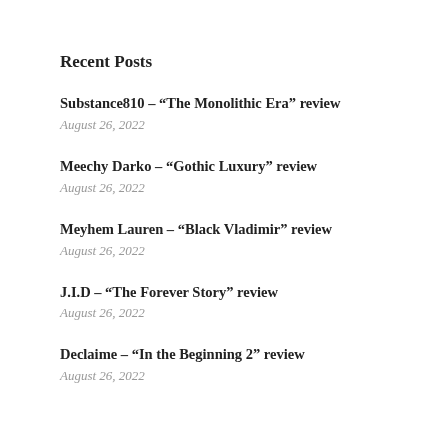Recent Posts
Substance810 – “The Monolithic Era” review
August 26, 2022
Meechy Darko – “Gothic Luxury” review
August 26, 2022
Meyhem Lauren – “Black Vladimir” review
August 26, 2022
J.I.D – “The Forever Story” review
August 26, 2022
Declaime – “In the Beginning 2” review
August 26, 2022